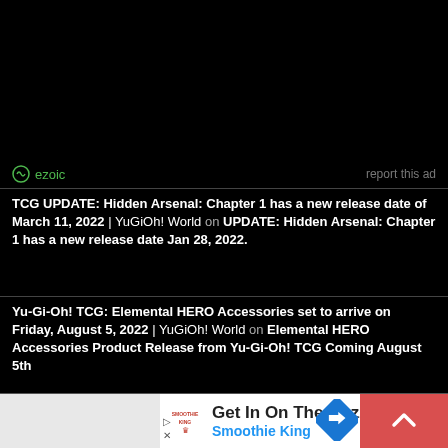[Figure (other): Black advertisement area (ezoic ad placeholder)]
ezoic   report this ad
TCG UPDATE: Hidden Arsenal: Chapter 1 has a new release date of March 11, 2022 | YuGiOh! World on UPDATE: Hidden Arsenal: Chapter 1 has a new release date Jan 28, 2022.
Yu-Gi-Oh! TCG: Elemental HERO Accessories set to arrive on Friday, August 5, 2022 | YuGiOh! World on Elemental HERO Accessories Product Release from Yu-Gi-Oh! TCG Coming August 5th
[Figure (other): Advertisement banner: Get In On The Buzz - Smoothie King, with Smoothie King logo, blue direction sign icon, and red scroll-to-top button with chevron arrow. Also shows small navigation icons (play and X).]